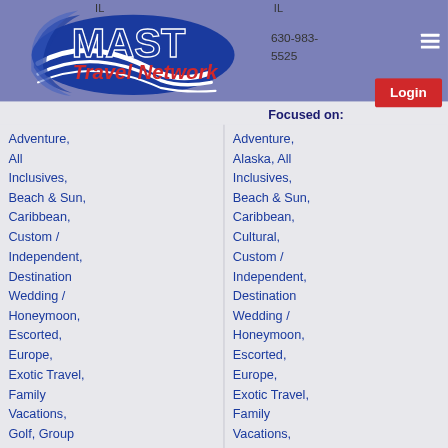IL
IL
630-983-5525
[Figure (logo): MAST Travel Network logo — blue oval with white swoosh lines, bold dark blue MAST text and red cursive Travel Network text]
Login
Focused on:
Adventure, All Inclusives, Beach & Sun, Caribbean, Custom / Independent, Destination Wedding / Honeymoon, Escorted, Europe, Exotic Travel, Family Vacations, Golf, Group Travel, Hawaii, Mexico,
Adventure, Alaska, All Inclusives, Beach & Sun, Caribbean, Cultural, Custom / Independent, Destination Wedding / Honeymoon, Escorted, Europe, Exotic Travel, Family Vacations, Food & Wine, Group Travel, Hawaii,